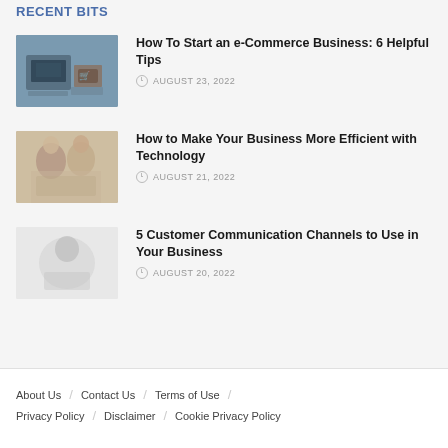RECENT BITS
How To Start an e-Commerce Business: 6 Helpful Tips — AUGUST 23, 2022
How to Make Your Business More Efficient with Technology — AUGUST 21, 2022
5 Customer Communication Channels to Use in Your Business — AUGUST 20, 2022
About Us / Contact Us / Terms of Use / Privacy Policy / Disclaimer / Cookie Privacy Policy